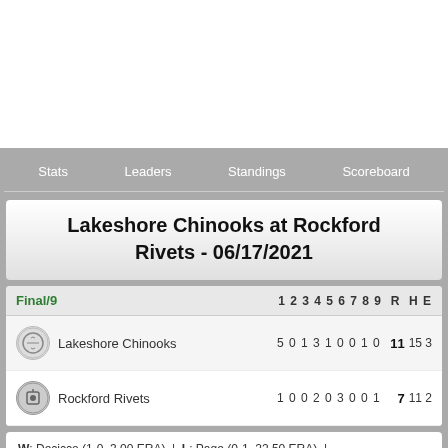Stats | Leaders | Standings | Scoreboard
Lakeshore Chinooks at Rockford Rivets - 06/17/2021
| Final/9 | 1 | 2 | 3 | 4 | 5 | 6 | 7 | 8 | 9 | R | H | E |
| --- | --- | --- | --- | --- | --- | --- | --- | --- | --- | --- | --- | --- |
| Lakeshore Chinooks | 5 | 0 | 1 | 3 | 1 | 0 | 0 | 1 | 0 | 11 | 15 | 3 |
| Rockford Rivets | 1 | 0 | 0 | 2 | 0 | 3 | 0 | 0 | 1 | 7 | 11 | 2 |
W: Decicco (1-0, 3.00 ERA) | L: Page (0-1, 22.50 ERA) |